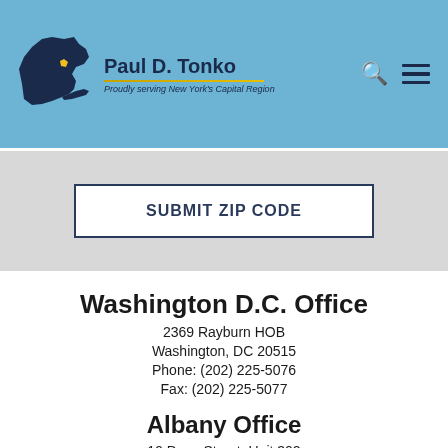Paul D. Tonko — Proudly serving New York's Capital Region
SUBMIT ZIP CODE
Washington D.C. Office
2369 Rayburn HOB
Washington, DC 20515
Phone: (202) 225-5076
Fax: (202) 225-5077
Albany Office
19 Dove Street, Unit 302
Albany, NY 12210